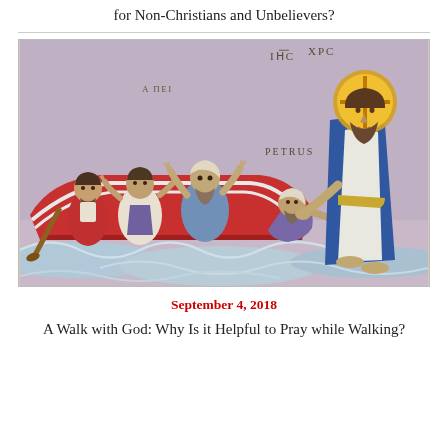for Non-Christians and Unbelievers?
[Figure (illustration): Medieval illuminated manuscript scene depicting Jesus walking on water and reaching toward Peter who is sinking, while other disciples watch from a red boat. Labels 'IHC XPC' (Jesus Christ) and 'PETRUS' (Peter) are visible in the image.]
September 4, 2018
A Walk with God: Why Is it Helpful to Pray while Walking?